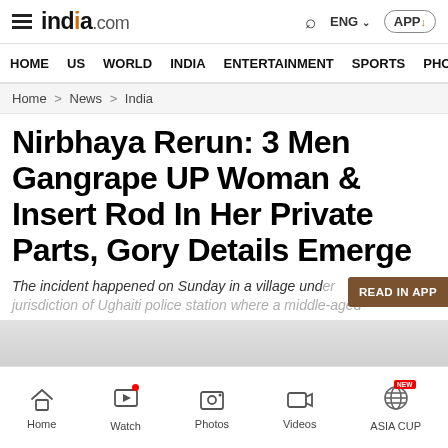india.com | HOME | US | WORLD | INDIA | ENTERTAINMENT | SPORTS | PHO
Home > News > India
Nirbhaya Rerun: 3 Men Gangrape UP Woman & Insert Rod In Her Private Parts, Gory Details Emerge
The incident happened on Sunday in a village under jurisdiction of Ughaiti police station where a middle-aged...
Home | Watch | Photos | Videos | ASIA CUP